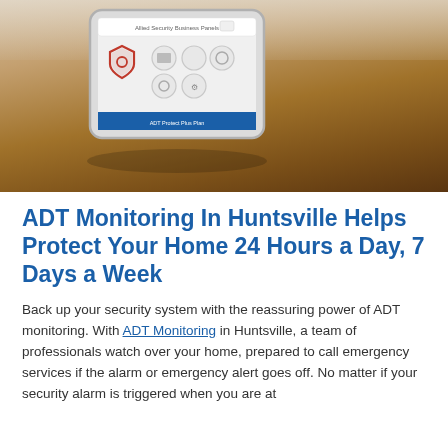[Figure (photo): Photo of an ADT security panel tablet sitting on a wooden table, showing the ADT interface with a shield logo and control buttons. Background is blurred with people visible in the distance.]
ADT Monitoring In Huntsville Helps Protect Your Home 24 Hours a Day, 7 Days a Week
Back up your security system with the reassuring power of ADT monitoring. With ADT Monitoring in Huntsville, a team of professionals watch over your home, prepared to call emergency services if the alarm or emergency alert goes off. No matter if your security alarm is triggered when you are at